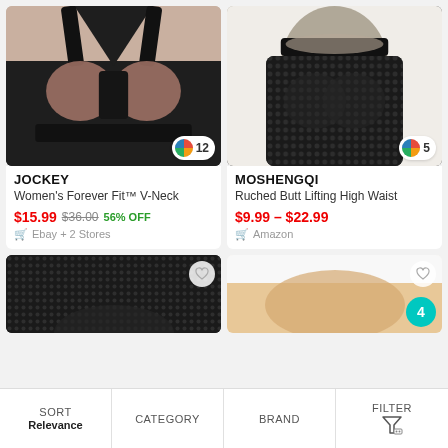[Figure (photo): Woman wearing a black V-neck sports bra by Jockey]
[Figure (photo): Woman wearing black textured ruched high-waist shorts/leggings by Moshengqi]
JOCKEY
Women’s Forever Fit™ V-Neck
$15.99  $36.00  56% OFF
Ebay + 2 Stores
MOSHENGQI
Ruched Butt Lifting High Waist
$9.99 – $22.99
Amazon
[Figure (photo): Partial view of black textured activewear bottom product thumbnail]
[Figure (photo): Partial view of beige/white activewear shorts product thumbnail with teal badge showing 4]
SORT  Relevance  |  CATEGORY  |  BRAND  |  FILTER